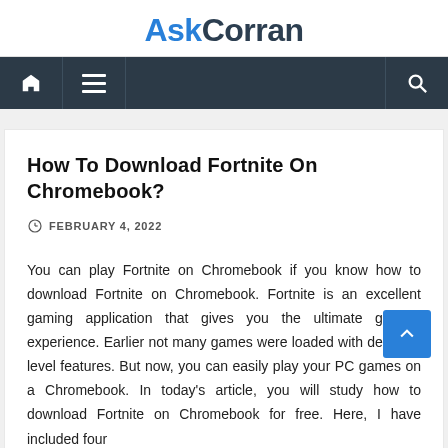AskCorran
[Figure (other): Navigation bar with home icon, hamburger menu icon, and search icon on dark background]
How To Download Fortnite On Chromebook?
FEBRUARY 4, 2022
You can play Fortnite on Chromebook if you know how to download Fortnite on Chromebook. Fortnite is an excellent gaming application that gives you the ultimate gaming experience. Earlier not many games were loaded with desktop-level features. But now, you can easily play your PC games on a Chromebook. In today's article, you will study how to download Fortnite on Chromebook for free. Here, I have included four